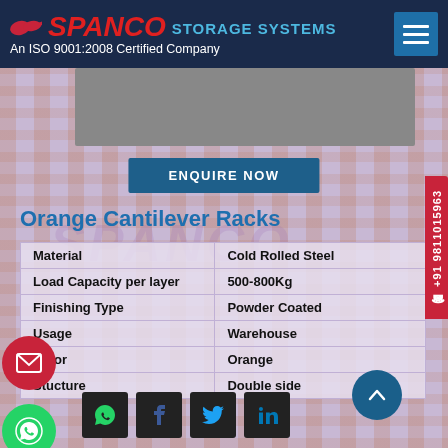SPANCO STORAGE SYSTEMS — An ISO 9001:2008 Certified Company
Orange Cantilever Racks
|  |  |
| --- | --- |
| Material | Cold Rolled Steel |
| Load Capacity per layer | 500-800Kg |
| Finishing Type | Powder Coated |
| Usage | Warehouse |
| Color | Orange |
| Stucture | Double side |